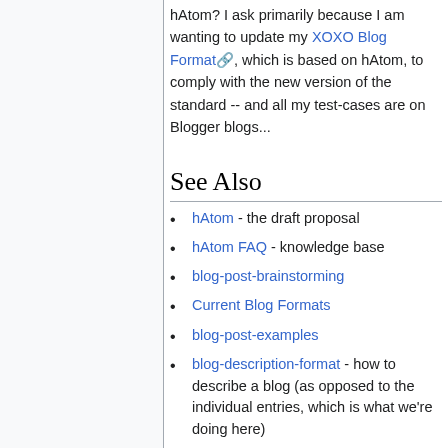hAtom? I ask primarily because I am wanting to update my XOXO Blog Format, which is based on hAtom, to comply with the new version of the standard -- and all my test-cases are on Blogger blogs...
See Also
hAtom - the draft proposal
hAtom FAQ - knowledge base
blog-post-brainstorming
Current Blog Formats
blog-post-examples
blog-description-format - how to describe a blog (as opposed to the individual entries, which is what we're doing here)